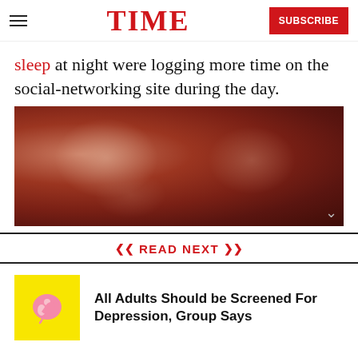TIME | SUBSCRIBE
sleep at night were logging more time on the social-networking site during the day.
[Figure (photo): Blurred reddish-brown abstract photograph, likely a close-up image related to sleep or health.]
READ NEXT
All Adults Should be Screened For Depression, Group Says